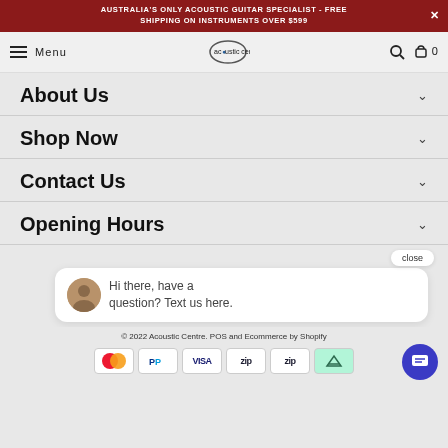AUSTRALIA'S ONLY ACOUSTIC GUITAR SPECIALIST - FREE SHIPPING ON INSTRUMENTS OVER $599
[Figure (screenshot): Navigation bar with hamburger menu, 'Menu' text, Acoustic Centre logo, search and cart icons (0 items)]
About Us
Shop Now
Contact Us
Opening Hours
close
Hi there, have a question? Text us here.
© 2022 Acoustic Centre. POS and Ecommerce by Shopify
[Figure (other): Payment method icons: Mastercard, PayPal, Visa, Zip (two variants), AfterPay/Laybuy]